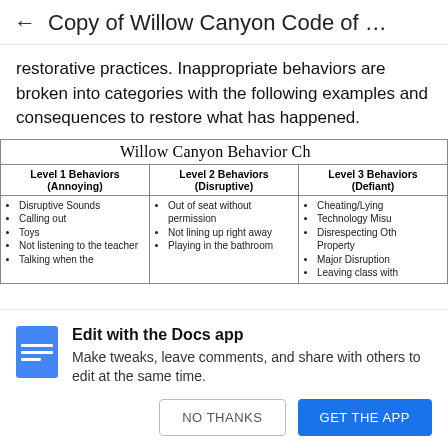← Copy of Willow Canyon Code of …
restorative practices. Inappropriate behaviors are broken into categories with the following examples and consequences to restore what has happened.
| Level 1 Behaviors (Annoying) | Level 2 Behaviors (Disruptive) | Level 3 Behaviors (Defiant) |
| --- | --- | --- |
| Disruptive Sounds, Calling out, Toys, Not listening to the teacher, Talking when the… | Out of seat without permission, Not lining up right away, Playing in the bathroom… | Cheating/Lying, Technology Misuse, Disrespecting Others' Property, Major Disruption, Leaving class with… |
Edit with the Docs app
Make tweaks, leave comments, and share with others to edit at the same time.
NO THANKS
GET THE APP